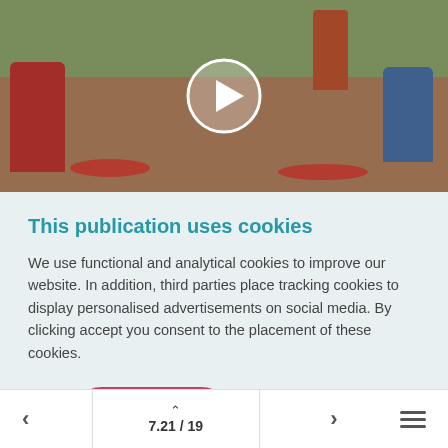[Figure (photo): Outdoor African market scene with women selling tomatoes and vegetables, shown as video thumbnail with play button overlay]
This publication uses cookies
We use functional and analytical cookies to improve our website. In addition, third parties place tracking cookies to display personalised advertisements on social media. By clicking accept you consent to the placement of these cookies.
Accept | Reject
7.21 / 19